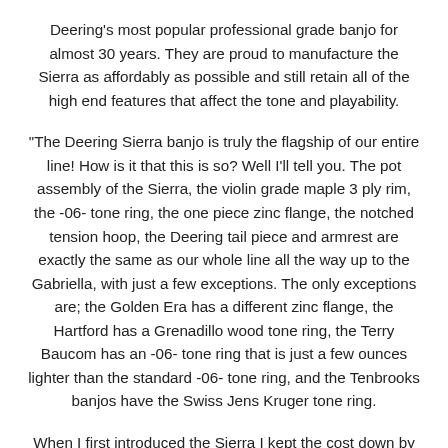Deering's most popular professional grade banjo for almost 30 years. They are proud to manufacture the Sierra as affordably as possible and still retain all of the high end features that affect the tone and playability.
“The Deering Sierra banjo is truly the flagship of our entire line! How is it that this is so? Well I’ll tell you. The pot assembly of the Sierra, the violin grade maple 3 ply rim, the -06- tone ring, the one piece zinc flange, the notched tension hoop, the Deering tail piece and armrest are exactly the same as our whole line all the way up to the Gabriella, with just a few exceptions. The only exceptions are; the Golden Era has a different zinc flange, the Hartford has a Grenadillo wood tone ring, the Terry Baucom has an -06- tone ring that is just a few ounces lighter than the standard -06- tone ring, and the Tenbrooks banjos have the Swiss Jens Kruger tone ring.
When I first introduced the Sierra I kept the cost down by keeping the cosmetics simple. I put the money into the pot assembly. I wanted to build a top professional banjo at a